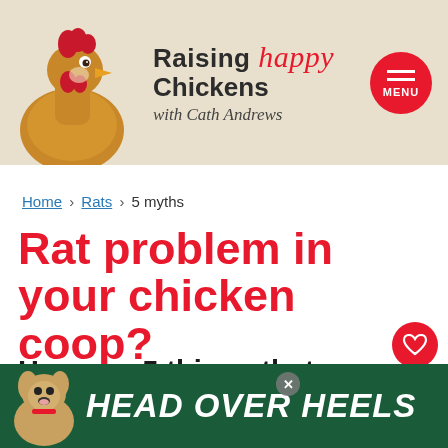[Figure (logo): Raising Happy Chickens with Cath Andrews website header with chicken photo, red cursive happy text, and red circular menu button]
Home › Rats › 5 myths
Rat problem in your chicken coop?
Here are 5 things that won't work – and my checklist of
[Figure (infographic): HEAD OVER HEELS advertisement banner with dog image on dark green background]
[Figure (infographic): What's Next panel: How to get rid of rats from...]